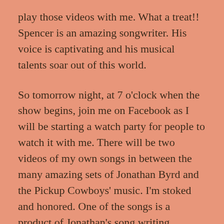play those videos with me. What a treat!! Spencer is an amazing songwriter. His voice is captivating and his musical talents soar out of this world.
So tomorrow night, at 7 o'clock when the show begins, join me on Facebook as I will be starting a watch party for people to watch it with me. There will be two videos of my own songs in between the many amazing sets of Jonathan Byrd and the Pickup Cowboys' music. I'm stoked and honored. One of the songs is a product of Jonathan's song writing workshop. I recommend it to anyone who likes to write songs!
Quote: “Jump, and the lily pad will appear.” This quote was on a friend's mom's fridge and it's etched